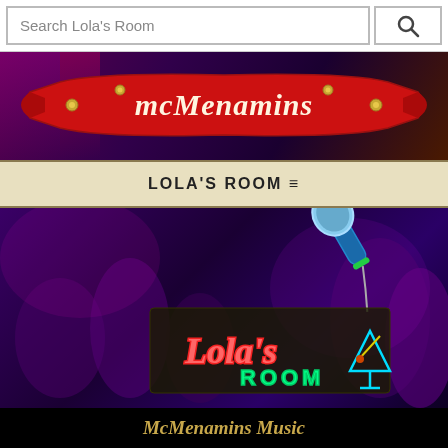Search Lola's Room
[Figure (screenshot): McMenamins logo on a red decorative ribbon banner over a dark purple/maroon background]
LOLA'S ROOM ≡
[Figure (photo): Lola's Room interior with crowd, a blue microphone in foreground, and a neon Lola's Room sign with martini glass]
McMenamins Music